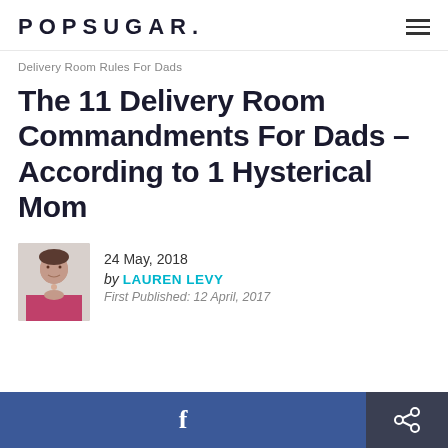POPSUGAR.
Delivery Room Rules For Dads
The 11 Delivery Room Commandments For Dads – According to 1 Hysterical Mom
24 May, 2018
by LAUREN LEVY
First Published: 12 April, 2017